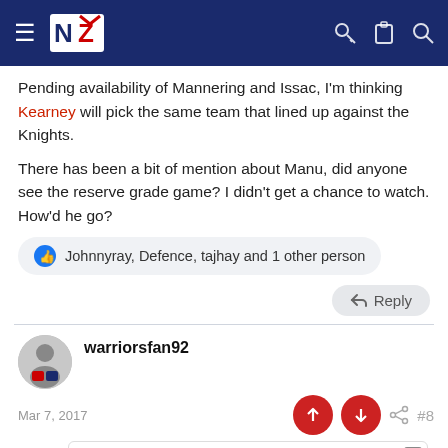NZ Warriors forum navigation bar
Pending availability of Mannering and Issac, I'm thinking Kearney will pick the same team that lined up against the Knights.
There has been a bit of mention about Manu, did anyone see the reserve grade game? I didn't get a chance to watch. How'd he go?
Johnnyray, Defence, tajhay and 1 other person
Reply
warriorsfan92
Mar 7, 2017
#8
Dine-in
Curbside pickup